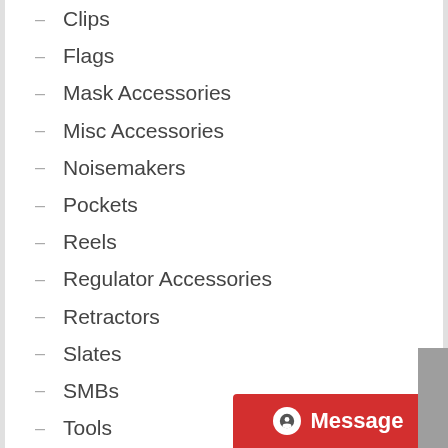– Clips
– Flags
– Mask Accessories
– Misc Accessories
– Noisemakers
– Pockets
– Reels
– Regulator Accessories
– Retractors
– Slates
– SMBs
– Tools
– Weight Belts
– Air Tanks